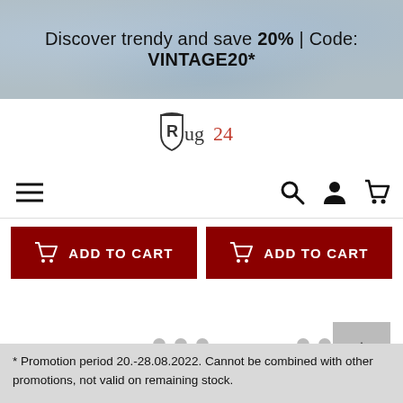Discover trendy and save 20% | Code: VINTAGE20*
[Figure (logo): Rug24 logo with stylized shield icon and text 'Rug24']
[Figure (screenshot): Navigation bar with hamburger menu on left and search, user, cart icons on right]
[Figure (screenshot): Two dark red ADD TO CART buttons side by side with shopping cart icons]
* Promotion period 20.-28.08.2022. Cannot be combined with other promotions, not valid on remaining stock.